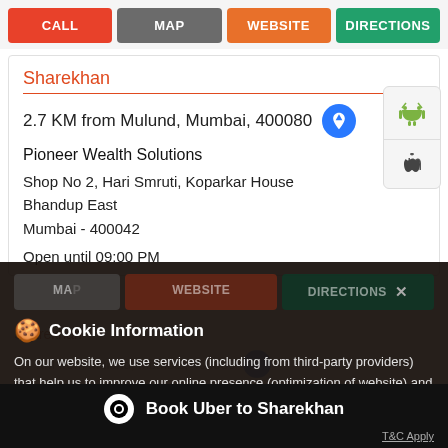[Figure (screenshot): Mobile app action buttons: CALL (red), MAP (gray), WEBSITE (orange), DIRECTIONS (green)]
Sharekhan
2.7 KM from Mulund, Mumbai, 400080
Pioneer Wealth Solutions
Shop No 2, Hari Smruti, Koparkar House Bhandup East Mumbai - 400042
Open until 09:00 PM
Cookie Information
On our website, we use services (including from third-party providers) that help us to improve our online presence (optimization of website) and to display content that is geared to their interests. We need your consent before being able to use these services.
Book Uber to Sharekhan
T&C Apply